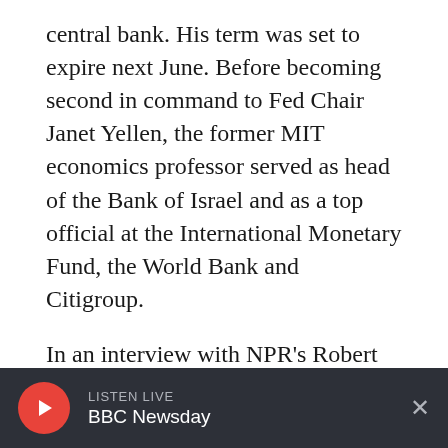central bank. His term was set to expire next June. Before becoming second in command to Fed Chair Janet Yellen, the former MIT economics professor served as head of the Bank of Israel and as a top official at the International Monetary Fund, the World Bank and Citigroup.
In an interview with NPR's Robert Siegel, Fischer says that despite record highs in the stock market — boosted by the Fed's low interest rates — he doesn't see a bubble. Fischer also says that the $20 trillion national debt is not worrisome currently, but if interest rates go up that could
LISTEN LIVE BBC Newsday